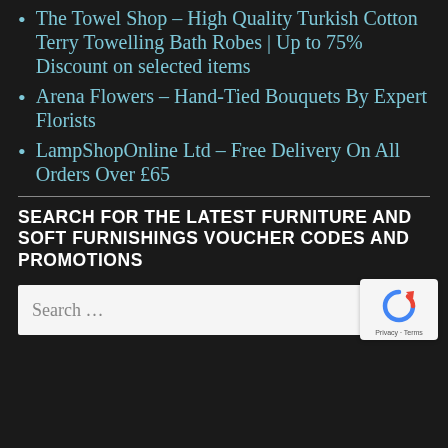The Towel Shop – High Quality Turkish Cotton Terry Towelling Bath Robes | Up to 75% Discount on selected items
Arena Flowers – Hand-Tied Bouquets By Expert Florists
LampShopOnline Ltd – Free Delivery On All Orders Over £65
SEARCH FOR THE LATEST FURNITURE AND SOFT FURNISHINGS VOUCHER CODES AND PROMOTIONS
Search …